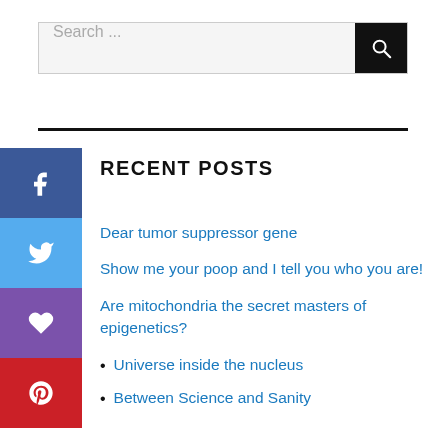[Figure (screenshot): Search bar with text 'Search ...' and black search button with magnifying glass icon]
RECENT POSTS
Dear tumor suppressor gene
Show me your poop and I tell you who you are!
Are mitochondria the secret masters of epigenetics?
Universe inside the nucleus
Between Science and Sanity